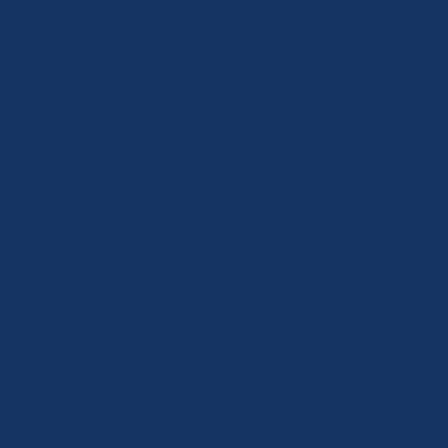the comments section is like our front porch. It faces the